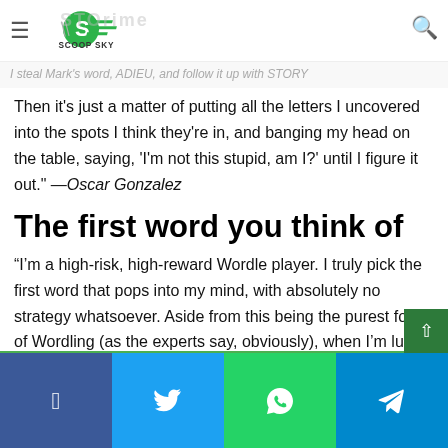SCOOP SKY
I steal Mark's word, ADIEU, and follow it up with STORY
Then it's just a matter of putting all the letters I uncovered into the spots I think they're in, and banging my head on the table, saying, 'I'm not this stupid, am I?' until I figure it out." —Oscar Gonzalez
The first word you think of
“I’m a high-risk, high-reward Wordle player. I truly pick the first word that pops into my mind, with absolutely no strategy whatsoever. Aside from this being the purest form of Wordling (as the experts say, obviously), when I’m lucky enough to accidentally guess three or four of five letters correctly, it’s